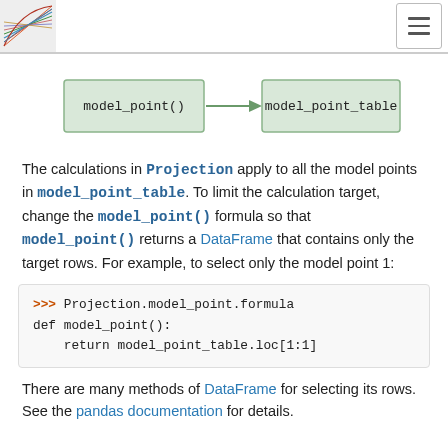[logo] [hamburger menu]
[Figure (flowchart): Flowchart with two nodes connected by an arrow: 'model_point()' on the left connected to 'model_point_table' on the right via a right-pointing arrow.]
The calculations in Projection apply to all the model points in model_point_table. To limit the calculation target, change the model_point() formula so that model_point() returns a DataFrame that contains only the target rows. For example, to select only the model point 1:
>>> Projection.model_point.formula
def model_point():
    return model_point_table.loc[1:1]
There are many methods of DataFrame for selecting its rows. See the pandas documentation for details.